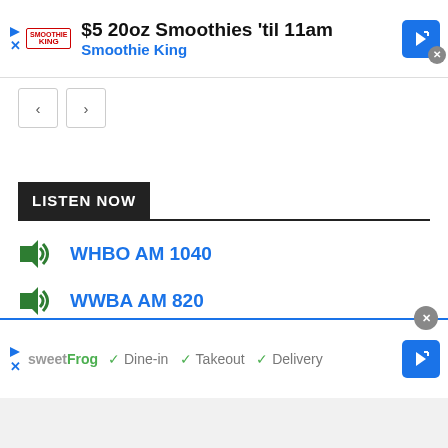[Figure (infographic): Top advertisement banner for Smoothie King: '$5 20oz Smoothies til 11am' with Smoothie King logo, blue navigation arrow icon and close button]
[Figure (infographic): Navigation previous/next arrow buttons]
LISTEN NOW
WHBO AM 1040
WWBA AM 820
[Figure (infographic): Bottom advertisement banner for sweetFrog: checkmarks for Dine-in, Takeout, Delivery with blue navigation arrow icon and close button]